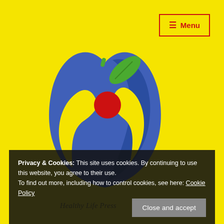[Figure (logo): Healthy Life Press logo: a blue apple shape with a human figure silhouette in blue, a red circle (head), a green leaf at top, on a yellow background. Text below reads 'Healthy Life Press' in dark olive/brown.]
≡ Menu
Privacy & Cookies: This site uses cookies. By continuing to use this website, you agree to their use. To find out more, including how to control cookies, see here: Cookie Policy
Close and accept